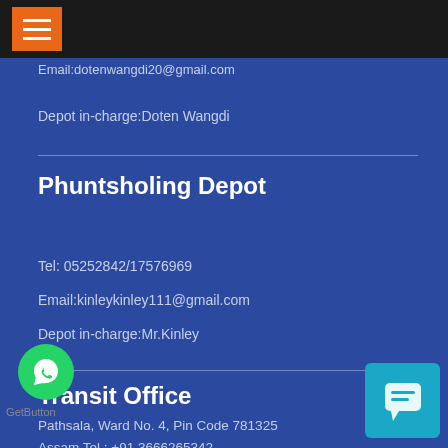Email:dotenwangdi20@gmail.com
Depot in-charge:Doten Wangdi
Phuntsholing Depot
Tel: 05252842/17576969
Email:kinleykinley111@gmail.com
Depot in-charge:Mr.Kinley
Transit Office
Pathsala, Ward No. 4, Pin Code 781325
Assam Tel : +91 3666265342